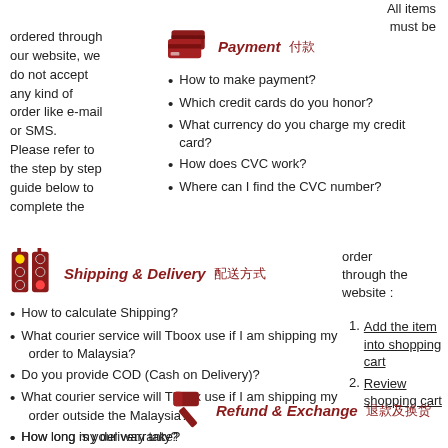All items must be
ordered through our website, we do not accept any kind of order like e-mail or SMS. Please refer to the step by step guide below to complete the
Payment 付款
How to make payment?
Which credit cards do you honor?
What currency do you charge my credit card?
How does CVC work?
Where can I find the CVC number?
Shipping & Delivery 配送方式
order through the website :
How to calculate Shipping?
What courier service will Tboox use if I am shipping my order to Malaysia?
Do you provide COD (Cash on Delivery)?
What courier service will Tboox use if I am shipping my order outside the Malaysia?
How long my delivery take?
Add the item into shopping cart
Review shopping cart
Refund & Exchange 退款及换货
How long is your warranty?